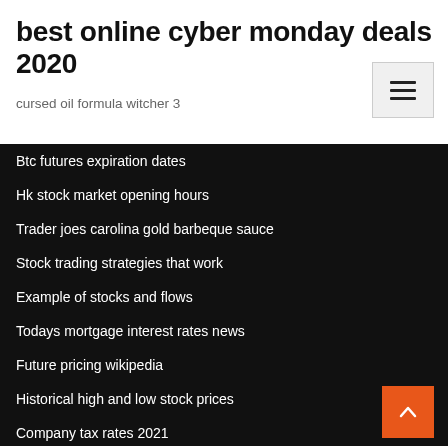best online cyber monday deals 2020
cursed oil formula witcher 3
Btc futures expiration dates
Hk stock market opening hours
Trader joes carolina gold barbeque sauce
Stock trading strategies that work
Example of stocks and flows
Todays mortgage interest rates news
Future pricing wikipedia
Historical high and low stock prices
Company tax rates 2021